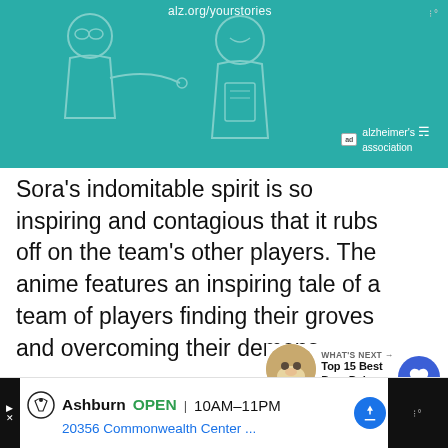[Figure (illustration): Teal/turquoise advertisement banner for Alzheimer's Association showing cartoon illustration of two people (elderly and younger), with URL alz.org/yourstories and 'ad' badge with alzheimer's association logo]
Sora's indomitable spirit is so inspiring and contagious that it rubs off on the team's other players. The anime features an inspiring tale of a team of players finding their groves and overcoming their demons.
[Figure (infographic): What's Next panel showing a round Snorlax Pokemon thumbnail image with label 'WHAT'S NEXT →' and text 'Top 15 Best Bear Pokem...']
5. Dear Boys
[Figure (screenshot): Bottom advertisement bar for Topgolf Ashburn showing OPEN 10AM-11PM, 20356 Commonwealth Center..., with navigation arrow icon, play button on left, and weather/dots icon on right]